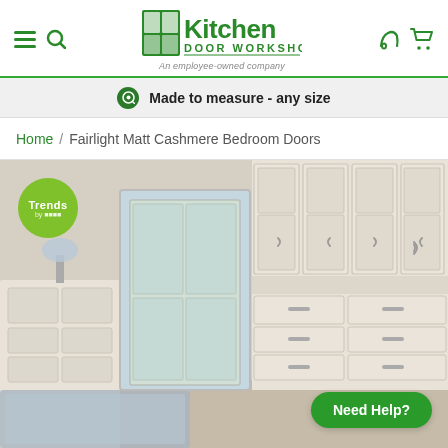[Figure (logo): Kitchen Door Workshop logo with green door icon, company name in green, tagline 'An employee-owned company']
Made to measure - any size
Home / Fairlight Matt Cashmere Bedroom Doors
[Figure (photo): Bedroom wardrobe with Fairlight Matt Cashmere doors, cream/cashmere color, shaker style panels, with chrome bar handles, French doors in background, Trends badge in top left corner, Need Help? button in bottom right.]